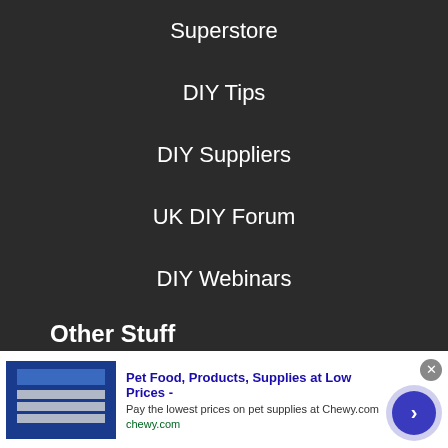Superstore
DIY Tips
DIY Suppliers
UK DIY Forum
DIY Webinars
Other Stuff
Advertise
Competitions
T and C's
[Figure (infographic): Advertisement banner for Chewy.com: Pet Food, Products, Supplies at Low Prices. Pay the lowest prices on pet supplies at Chewy.com. chewy.com]